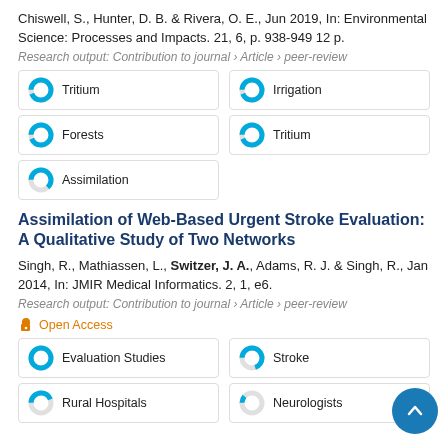Chiswell, S., Hunter, D. B. & Rivera, O. E., Jun 2019, In: Environmental Science: Processes and Impacts. 21, 6, p. 938-949 12 p.
Research output: Contribution to journal › Article › peer-review
Tritium
Irrigation
Forests
Tritium
Assimilation
Assimilation of Web-Based Urgent Stroke Evaluation: A Qualitative Study of Two Networks
Singh, R., Mathiassen, L., Switzer, J. A., Adams, R. J. & Singh, R., Jan 2014, In: JMIR Medical Informatics. 2, 1, e6.
Research output: Contribution to journal › Article › peer-review
Open Access
Evaluation Studies
Stroke
Rural Hospitals
Neurologists